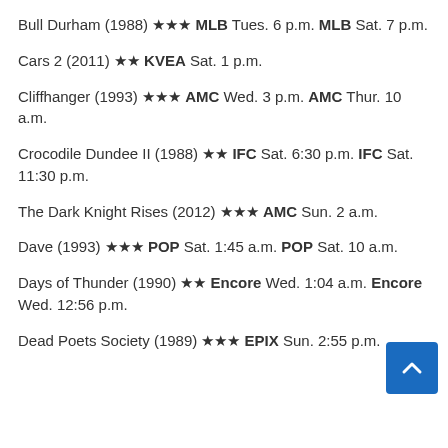Bull Durham (1988) ★★★ MLB Tues. 6 p.m. MLB Sat. 7 p.m.
Cars 2 (2011) ★★ KVEA Sat. 1 p.m.
Cliffhanger (1993) ★★★ AMC Wed. 3 p.m. AMC Thur. 10 a.m.
Crocodile Dundee II (1988) ★★ IFC Sat. 6:30 p.m. IFC Sat. 11:30 p.m.
The Dark Knight Rises (2012) ★★★ AMC Sun. 2 a.m.
Dave (1993) ★★★ POP Sat. 1:45 a.m. POP Sat. 10 a.m.
Days of Thunder (1990) ★★ Encore Wed. 1:04 a.m. Encore Wed. 12:56 p.m.
Dead Poets Society (1989) ★★★ EPIX Sun. 2:55 p.m.